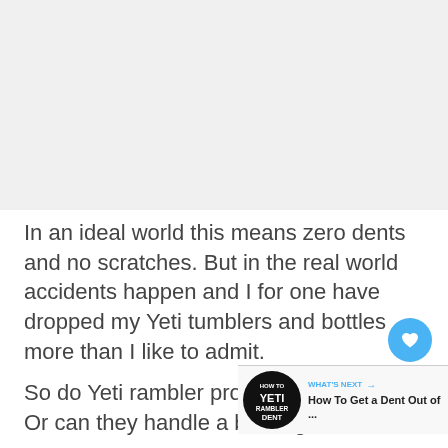[Figure (other): Placeholder image area at top of page, light grey background]
In an ideal world this means zero dents and no scratches. But in the real world accidents happen and I for one have dropped my Yeti tumblers and bottles more than I like to admit.
So do Yeti rambler products dent easily? Or can they handle a beating?